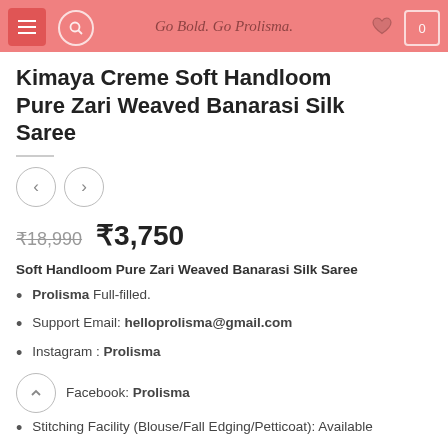Go Bold. Go Prolisma.
Kimaya Creme Soft Handloom Pure Zari Weaved Banarasi Silk Saree
₹18,990  ₹3,750
Soft Handloom Pure Zari Weaved Banarasi Silk Saree
Prolisma Full-filled.
Support Email: helloprolisma@gmail.com
Instagram : Prolisma
Facebook: Prolisma
Stitching Facility (Blouse/Fall Edging/Petticoat): Available